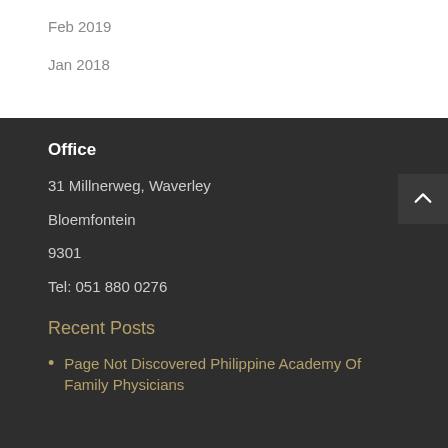Feb 2019
Jan 2018
Office
31 Millnerweg, Waverley
Bloemfontein
9301
Tel: 051 880 0276
Recent Posts
Page Not Discovered Philippine Academy Of Family Physicians